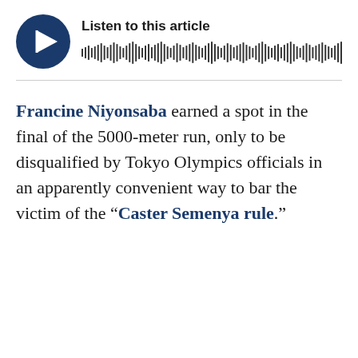[Figure (other): Audio player widget with a circular dark blue play button icon on the left and 'Listen to this article' label above a waveform/audio bar visualization on the right.]
Francine Niyonsaba earned a spot in the final of the 5000-meter run, only to be disqualified by Tokyo Olympics officials in an apparently convenient way to bar the victim of the “Caster Semenya rule.”